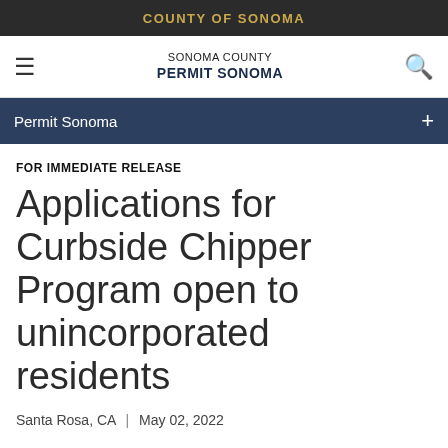COUNTY OF SONOMA
SONOMA COUNTY PERMIT SONOMA
Permit Sonoma
FOR IMMEDIATE RELEASE
Applications for Curbside Chipper Program open to unincorporated residents
Santa Rosa, CA | May 02, 2022